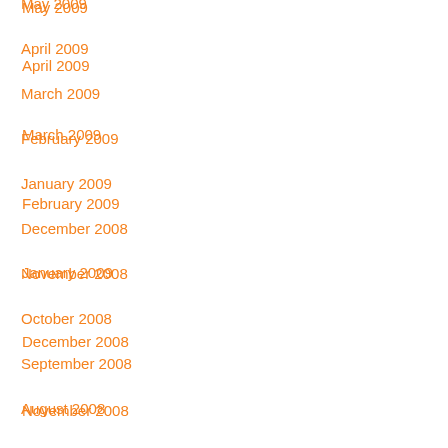May 2009
April 2009
March 2009
February 2009
January 2009
December 2008
November 2008
October 2008
September 2008
August 2008
July 2008
Account
Log in
Entries feed